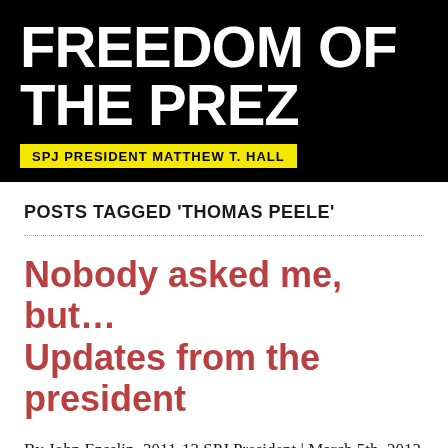FREEDOM OF THE PREZ — SPJ PRESIDENT MATTHEW T. HALL
POSTS TAGGED 'THOMAS PEELE'
Nobody asked me, but… Updates from the president
By John Ensslin, 2011-12 SPJ President | March 5th, 2012